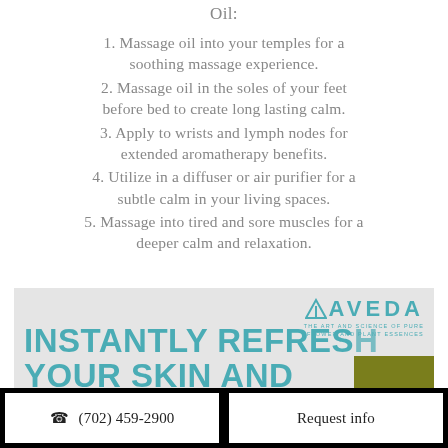Oil:
1. Massage oil into your temples for a soothing massage experience.
2. Massage oil in the soles of your feet before bed to create long lasting calm.
3. Apply to wrists and lymph nodes for extended aromatherapy benefits.
4. Utilize in a diffuser or air purifier for a subtle calm in your living spaces.
5. Massage into tired and sore muscles for a deeper calm and relaxation.
[Figure (photo): Aveda product advertisement with logo and tagline 'INSTANTLY REFRESH YOUR SKIN AND SENSES' with a TOP button overlay]
(702) 459-2900   Request info